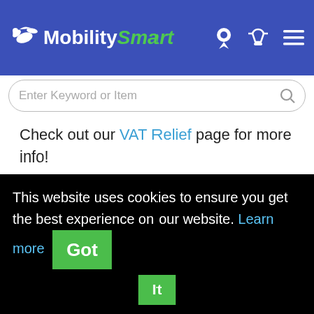MobilitySmart
Check out our VAT Relief page for more info!
This website uses cookies to ensure you get the best experience on our website. Learn more Got It